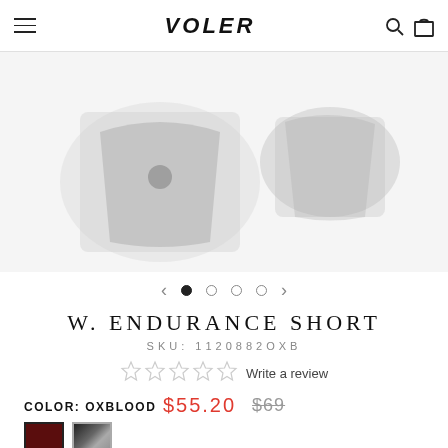VOLER
[Figure (photo): Product images of W. Endurance Short, partially visible from top, showing two angled views on white/light background]
[Figure (infographic): Carousel navigation: left arrow, 4 dots (first filled/active), right arrow]
W. ENDURANCE SHORT
SKU: 1120882OXB
Write a review
$55.20  $69
COLOR: OXBLOOD
[Figure (photo): Two color swatches: oxblood (dark red) and a patterned blue/grey]